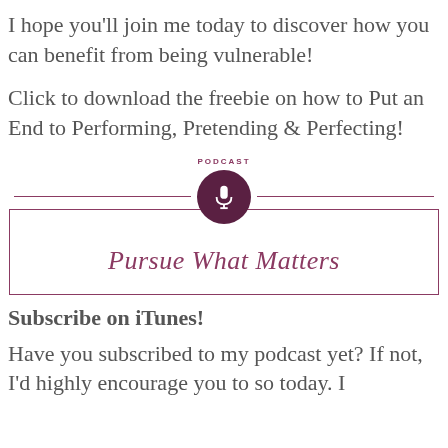I hope you'll join me today to discover how you can benefit from being vulnerable!
Click to download the freebie on how to Put an End to Performing, Pretending & Perfecting!
[Figure (logo): Podcast Freebie badge with microphone icon and text 'Pursue What Matters' in a bordered box]
Subscribe on iTunes!
Have you subscribed to my podcast yet? If not, I'd highly encourage you to so today. I